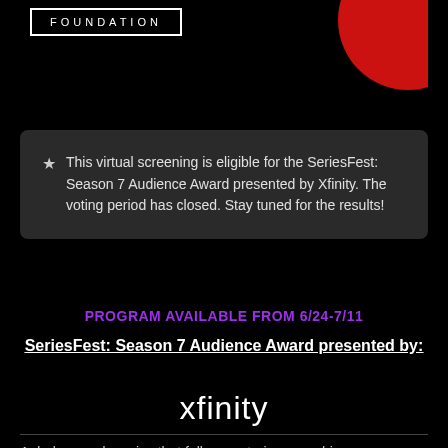[Figure (logo): FOUNDATION text in white letters inside a white bordered rectangle, on black background]
[Figure (logo): Red circle partially visible in upper right corner]
This virtual screening is eligible for the SeriesFest: Season 7 Audience Award presented by Xfinity. The voting period has closed. Stay tuned for the results!
PROGRAM AVAILABLE FROM 6/24-7/11
SeriesFest: Season 7 Audience Award presented by:
[Figure (logo): Xfinity logo in white text]
A dark comedy series that follows notorious psychic